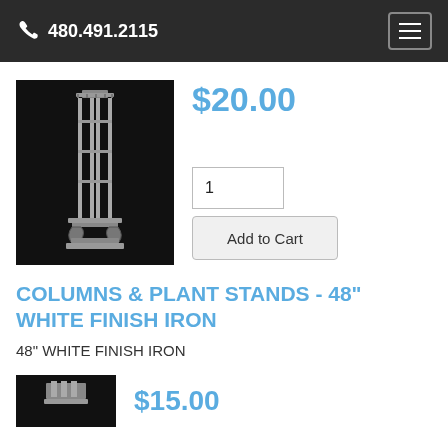480.491.2115
[Figure (photo): Iron plant stand column with decorative base, photographed against dark background]
$20.00
1
Add to Cart
COLUMNS & PLANT STANDS - 48" WHITE FINISH IRON
48" WHITE FINISH IRON
[Figure (photo): Partially visible product image at bottom of page]
$15.00